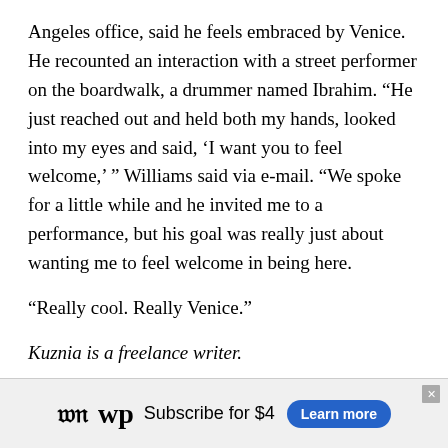Angeles office, said he feels embraced by Venice. He recounted an interaction with a street performer on the boardwalk, a drummer named Ibrahim. “He just reached out and held both my hands, looked into my eyes and said, ‘I want you to feel welcome,’ ” Williams said via e-mail. “We spoke for a little while and he invited me to a performance, but his goal was really just about wanting me to feel welcome in being here.
“Really cool. Really Venice.”
Kuznia is a freelance writer.
Correction: An earlier version of this article misspelled the last name of Carol Tantau.
[Figure (other): Washington Post advertisement banner: WP logo, 'Subscribe for $4', 'Learn more' button]